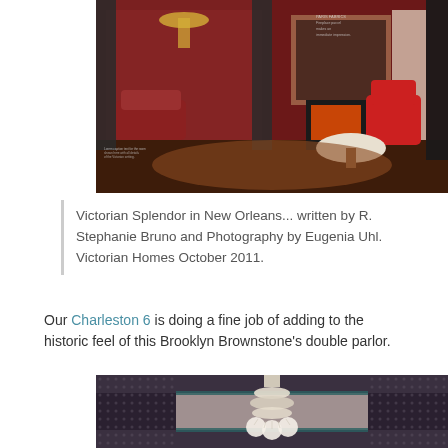[Figure (photo): A lavishly decorated Victorian-era double parlor with deep red walls, ornate furniture, a crystal chandelier, heavy dark curtains, antique mirrors, a fireplace, and richly patterned rugs. The room features red velvet chairs, a round marble-topped table, and various decorative objects typical of 19th-century interior design.]
Victorian Splendor in New Orleans... written by R. Stephanie Bruno and Photography by Eugenia Uhl. Victorian Homes October 2011.
Our Charleston 6 is doing a fine job of adding to the historic feel of this Brooklyn Brownstone's double parlor.
[Figure (photo): An ornate Victorian ceiling with elaborate plaster molding in dark tones, featuring a grand crystal chandelier with multiple tiers of hanging crystals and white globe lights, viewed from below.]